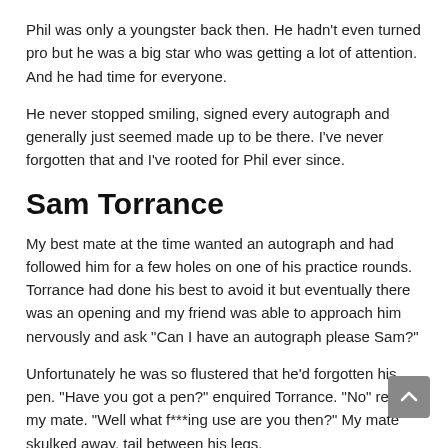Phil was only a youngster back then. He hadn't even turned pro but he was a big star who was getting a lot of attention. And he had time for everyone.
He never stopped smiling, signed every autograph and generally just seemed made up to be there. I've never forgotten that and I've rooted for Phil ever since.
Sam Torrance
My best mate at the time wanted an autograph and had followed him for a few holes on one of his practice rounds. Torrance had done his best to avoid it but eventually there was an opening and my friend was able to approach him nervously and ask "Can I have an autograph please Sam?"
Unfortunately he was so flustered that he'd forgotten his pen. "Have you got a pen?" enquired Torrance. "No" replied my mate. "Well what f***ing use are you then?" My mate skulked away, tail between his legs.
"What happened?" I asked. When he told me I was pissing myself